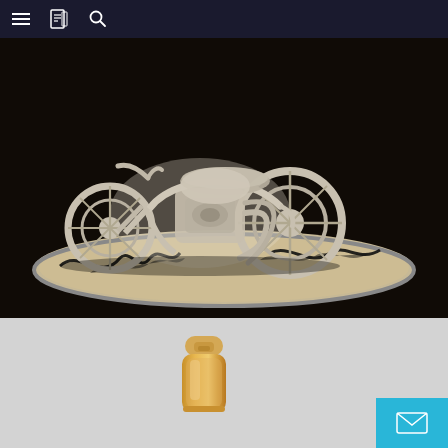Navigation bar with hamburger menu, book icon, and search icon
[Figure (photo): Close-up photo of a white/cream ceramic or resin motorcycle figurine/sculpture on a decorative oval base with black flame designs, against a dark background]
[Figure (photo): Photo of two gold/rose-gold metallic cosmetic pump bottles of different sizes against a light gray background, with a small golden cap bottle on the left and a taller pump dispenser on the right]